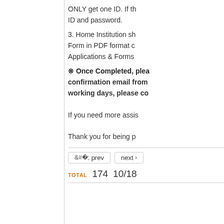ONLY get one ID. If the ID and password.
3. Home Institution should submit the Form in PDF format can be found in Applications & Forms
※ Once Completed, please wait for a confirmation email from working days, please contact
If you need more assistance
Thank you for being p
TOTAL 174   10/18